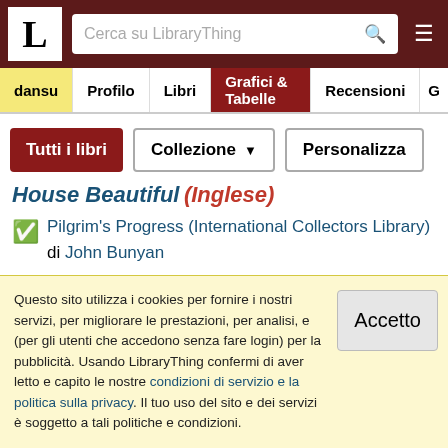[Figure (screenshot): LibraryThing website navigation header with logo, search bar, and hamburger menu]
dansu | Profilo | Libri | Grafici & Tabelle | Recensioni | G
Tutti i libri | Collezione | Personalizza
House Beautiful (Inglese)
Pilgrim's Progress (International Collectors Library) di John Bunyan
House of the Interpreter (Inglese)
Pilgrim's Progress (International Collectors Library) di John Bunyan
Questo sito utilizza i cookies per fornire i nostri servizi, per migliorare le prestazioni, per analisi, e (per gli utenti che accedono senza fare login) per la pubblicità. Usando LibraryThing confermi di aver letto e capito le nostre condizioni di servizio e la politica sulla privacy. Il tuo uso del sito e dei servizi è soggetto a tali politiche e condizioni.